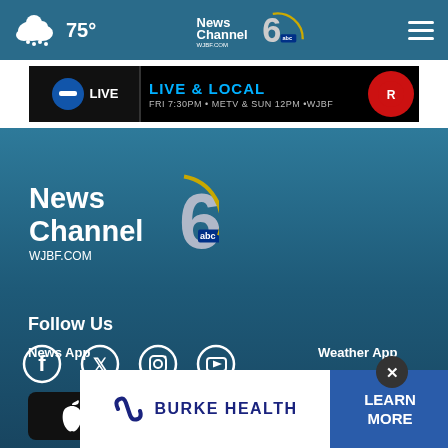75° | NewsChannel 6 WJBF.COM abc
[Figure (screenshot): Ad banner: GAME NIGHT LIVE - LIVE & LOCAL, FRI 7:30PM • METV & SUN 12PM •WJBF]
[Figure (logo): NewsChannel 6 abc WJBF.COM logo in footer area]
Follow Us
[Figure (infographic): Social media icons: Facebook, Twitter, Instagram, YouTube]
News App
Weather App
[Figure (screenshot): Burke Health advertisement with LEARN MORE button]